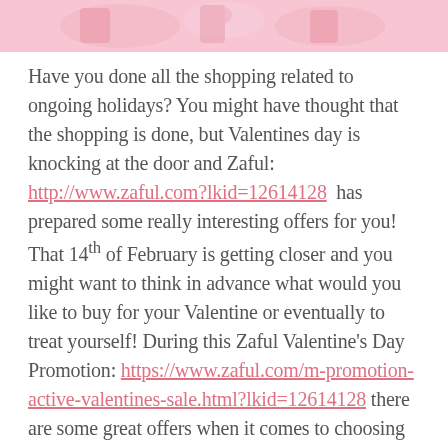[Figure (photo): Pink banner/header image with fashion/Valentine's products on pink background]
Have you done all the shopping related to ongoing holidays? You might have thought that the shopping is done, but Valentines day is knocking at the door and Zaful: http://www.zaful.com?lkid=12614128 has prepared some really interesting offers for you! That 14th of February is getting closer and you might want to think in advance what would you like to buy for your Valentine or eventually to treat yourself! During this Zaful Valentine's Day Promotion: https://www.zaful.com/m-promotion-active-valentines-sale.html?lkid=12614128 there are some great offers when it comes to choosing you Zaful valentines day sale 2018: https://www.zaful.com/?lkid=12614128. If you